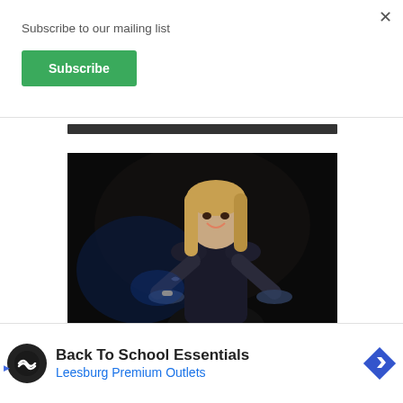Subscribe to our mailing list
Subscribe
[Figure (screenshot): Dark horizontal bar element]
[Figure (photo): Advertisement showing a woman with long blonde hair on an exercise bike, smiling, in dark lighting with blue tones. Tattoos visible on arms.]
1 Month Personal Training Free
Back To School Essentials
Leesburg Premium Outlets